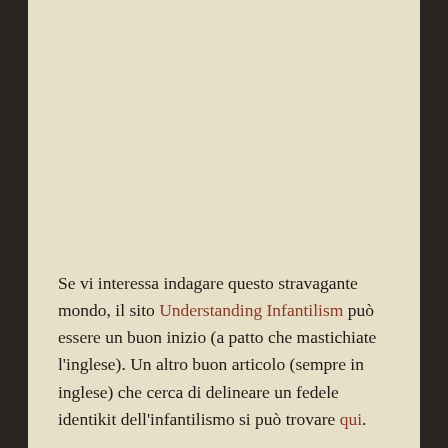Se vi interessa indagare questo stravagante mondo, il sito Understanding Infantilism può essere un buon inizio (a patto che mastichiate l'inglese). Un altro buon articolo (sempre in inglese) che cerca di delineare un fedele identikit dell'infantilismo si può trovare qui.